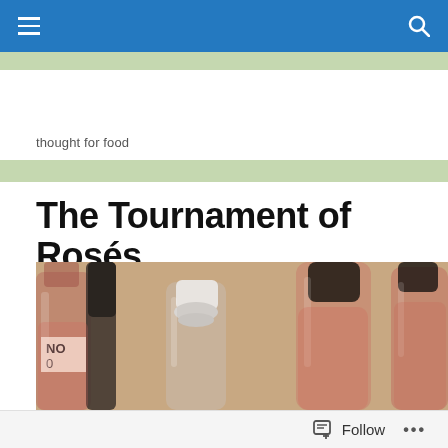Navigation bar with hamburger menu and search icon
thought for food
The Tournament of Rosés
[Figure (photo): Close-up photo of multiple rosé wine bottles grouped together, showing bottle necks and corks/caps, with pinkish rosé wine visible through the glass]
Follow ...